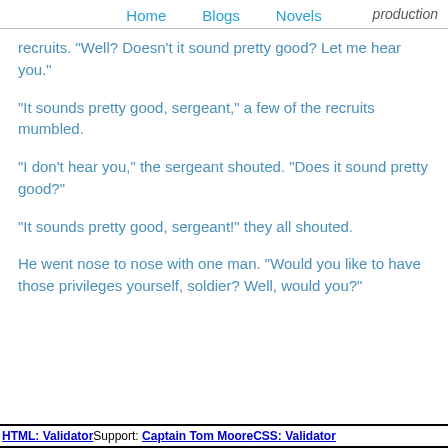Home   Blogs   Novels   production
recruits. "Well? Doesn't it sound pretty good? Let me hear you."
"It sounds pretty good, sergeant," a few of the recruits mumbled.
"I don't hear you," the sergeant shouted. "Does it sound pretty good?"
"It sounds pretty good, sergeant!" they all shouted.
He went nose to nose with one man. "Would you like to have those privileges yourself, soldier? Well, would you?"
HTML: Validator Support: Captain Tom Moore CSS: Validator